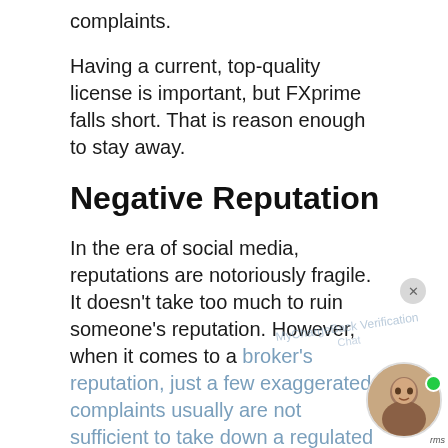complaints.
Having a current, top-quality license is important, but FXprime falls short. That is reason enough to stay away.
Negative Reputation
In the era of social media, reputations are notoriously fragile. It doesn't take too much to ruin someone's reputation. However, when it comes to a broker's reputation, just a few exaggerated complaints usually are not sufficient to take down a regulated financial services company that has a reputation for reliability.
Our experts did not just consult review sites.